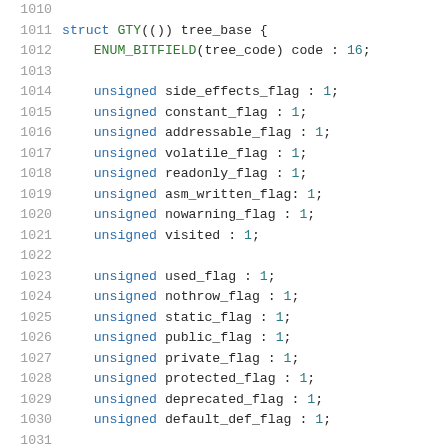Code listing showing struct GTY tree_base definition with line numbers 1010-1031, containing ENUM_BITFIELD and multiple unsigned bitfield members.